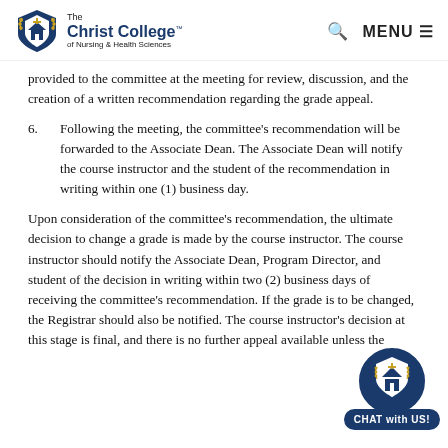The Christ College of Nursing & Health Sciences — MENU
provided to the committee at the meeting for review, discussion, and the creation of a written recommendation regarding the grade appeal.
6. Following the meeting, the committee's recommendation will be forwarded to the Associate Dean. The Associate Dean will notify the course instructor and the student of the recommendation in writing within one (1) business day.
Upon consideration of the committee's recommendation, the ultimate decision to change a grade is made by the course instructor. The course instructor should notify the Associate Dean, Program Director, and student of the decision in writing within two (2) business days of receiving the committee's recommendation. If the grade is to be changed, the Registrar should also be notified. The course instructor's decision at this stage is final, and there is no further appeal available unless the